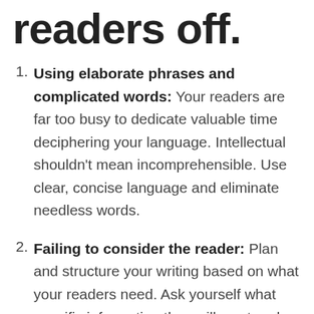readers off.
Using elaborate phrases and complicated words: Your readers are far too busy to dedicate valuable time deciphering your language. Intellectual shouldn't mean incomprehensible. Use clear, concise language and eliminate needless words.
Failing to consider the reader: Plan and structure your writing based on what your readers need. Ask yourself what specific information they will want and determine how much detail they actually need to